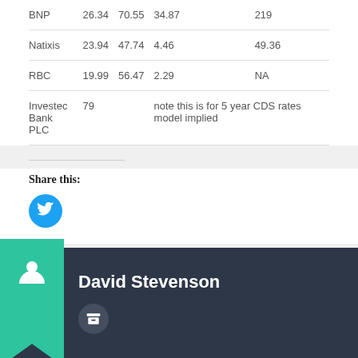| BNP | 26.34 | 70.55 | 34.87 |  | 219 |
| Natixis | 23.94 | 47.74 | 4.46 |  | 49.36 |
| RBC | 19.99 | 56.47 | 2.29 |  | NA |
| Investec Bank PLC | 79 |  | note this is for 5 year CDS rates model implied |  |  |
Share this:
[Figure (other): Twitter share button (blue circular icon with bird)]
David Stevenson
[Figure (other): Author profile section with teal bookmark icon, person silhouette, and archive button]